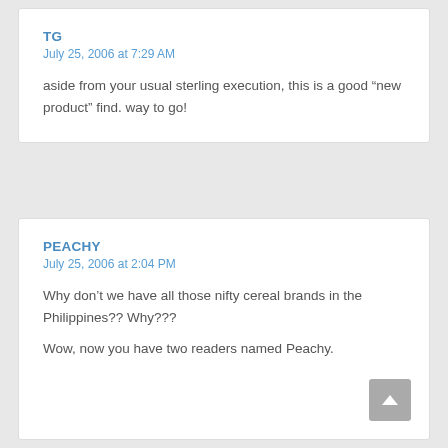TG
July 25, 2006 at 7:29 AM
aside from your usual sterling execution, this is a good “new product” find. way to go!
PEACHY
July 25, 2006 at 2:04 PM
Why don’t we have all those nifty cereal brands in the Philippines?? Why???
Wow, now you have two readers named Peachy.